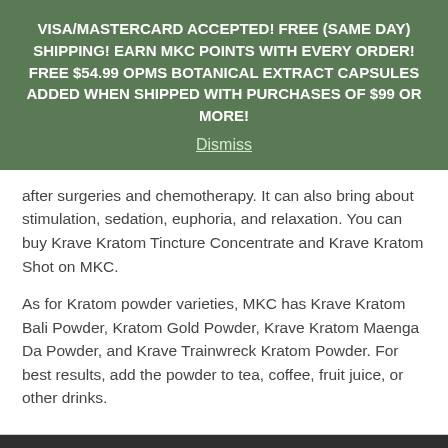VISA/MASTERCARD ACCEPTED! FREE (SAME DAY) SHIPPING! EARN MKC POINTS WITH EVERY ORDER! FREE $54.99 OPMS BOTANICAL EXTRACT CAPSULES ADDED WHEN SHIPPED WITH PURCHASES OF $99 OR MORE! Dismiss
after surgeries and chemotherapy. It can also bring about stimulation, sedation, euphoria, and relaxation. You can buy Krave Kratom Tincture Concentrate and Krave Kratom Shot on MKC.
As for Kratom powder varieties, MKC has Krave Kratom Bali Powder, Kratom Gold Powder, Krave Kratom Maenga Da Powder, and Krave Trainwreck Kratom Powder. For best results, add the powder to tea, coffee, fruit juice, or other drinks.
OUR MISSION    MY K CLUB LTD